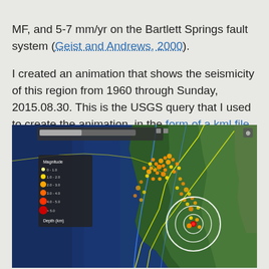MF, and 5-7 mm/yr on the Bartlett Springs fault system (Geist and Andrews, 2000). I created an animation that shows the seismicity of this region from 1960 through Sunday, 2015.08.30. This is the USGS query that I used to create the animation, in the form of a kml file. Here is a static map that shows all earthquakes for this region.
[Figure (map): Static seismic map showing earthquake locations from 1960 through 2015.08.30 for the Bartlett Springs fault region in California. The map shows the Pacific coast and inland areas with orange/yellow dots representing earthquake epicenters clustered along fault lines. A white circle highlights a specific earthquake zone. The map includes a legend for magnitude and depth on the left side, and a control bar at the top.]